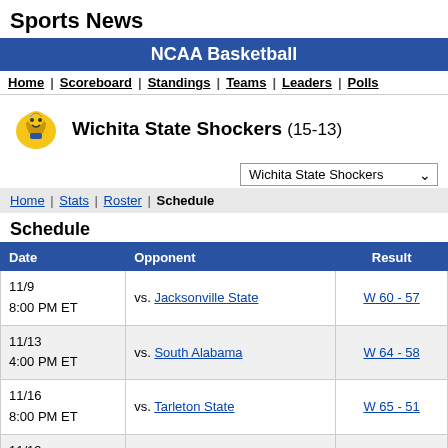Sports News
NCAA Basketball
Home | Scoreboard | Standings | Teams | Leaders | Polls
Wichita State Shockers (15-13)
Wichita State Shockers [dropdown]
Home | Stats | Roster | Schedule
Schedule
| Date | Opponent | Result |
| --- | --- | --- |
| 11/9
8:00 PM ET | vs. Jacksonville State | W 60 - 57 |
| 11/13
4:00 PM ET | vs. South Alabama | W 64 - 58 |
| 11/16
8:00 PM ET | vs. Tarleton State | W 65 - 51 |
| 11/19
10:00 PM ET | vs. Arizona* | L 78 - 82 |